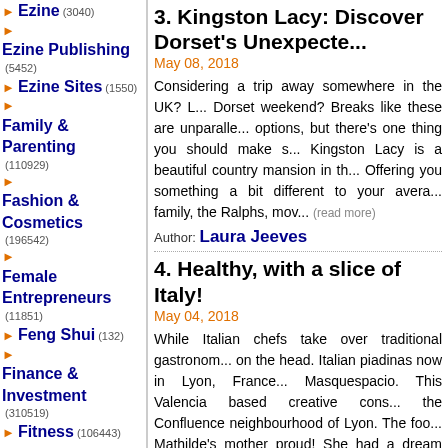Ezine (3040)
Ezine Publishing (5452)
Ezine Sites (1550)
Family & Parenting (110929)
Fashion & Cosmetics (196542)
Female Entrepreneurs (11851)
Feng Shui (132)
Finance & Investment (310519)
Fitness (106443)
Food & Beverages (63012)
Free Web Resources (7939)
Gambling (30227)
Gardening (25194)
Government (10512)
Health (629913)
Hinduism (2206)
Hobbies (44080)
Home Business
3. Kingston Lacy: Discover Dorset's Unexpected...
May 08, 2018
Considering a trip away somewhere in the UK? L... Dorset weekend? Breaks like these are unparalle... options, but there's one thing you should make s... Kingston Lacy is a beautiful country mansion in th... Offering you something a bit different to your avera... family, the Ralphs, mov...
Author: Laura Jeeves
4. Healthy, with a slice of Italy!
May 04, 2018
While Italian chefs take over traditional gastronom... on the head. Italian piadinas now in Lyon, France... Masquespacio. This Valencia based creative cons... the Confluence neighbourhood of Lyon. The foo... Mathilde's mother proud! She had a dream about... Lyon, through traditional piadin...
Author: Team IAnD
5. Puglia: Italy's Hidden Hilltop Gem
April 23, 2018
Italy is a country full of history, culture and good fo...